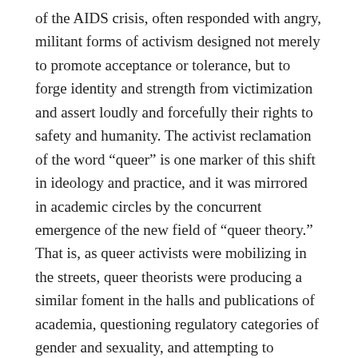of the AIDS crisis, often responded with angry, militant forms of activism designed not merely to promote acceptance or tolerance, but to forge identity and strength from victimization and assert loudly and forcefully their rights to safety and humanity. The activist reclamation of the word “queer” is one marker of this shift in ideology and practice, and it was mirrored in academic circles by the concurrent emergence of the new field of “queer theory.” That is, as queer activists were mobilizing in the streets, queer theorists were producing a similar foment in the halls and publications of academia, questioning regulatory categories of gender and sexuality, and attempting to illuminate the heteronormative foundations of Western thought. Notably, the narrative of queer theory’s development often describes it as arising from or being inspired by queer activism.